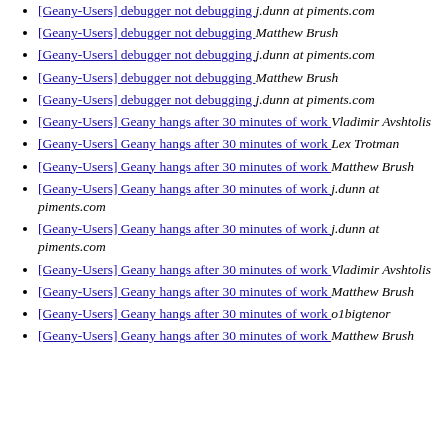[Geany-Users] debugger not debugging  j.dunn at piments.com
[Geany-Users] debugger not debugging  Matthew Brush
[Geany-Users] debugger not debugging  j.dunn at piments.com
[Geany-Users] debugger not debugging  Matthew Brush
[Geany-Users] debugger not debugging  j.dunn at piments.com
[Geany-Users] Geany hangs after 30 minutes of work  Vladimir Avshtolis
[Geany-Users] Geany hangs after 30 minutes of work  Lex Trotman
[Geany-Users] Geany hangs after 30 minutes of work  Matthew Brush
[Geany-Users] Geany hangs after 30 minutes of work  j.dunn at piments.com
[Geany-Users] Geany hangs after 30 minutes of work  j.dunn at piments.com
[Geany-Users] Geany hangs after 30 minutes of work  Vladimir Avshtolis
[Geany-Users] Geany hangs after 30 minutes of work  Matthew Brush
[Geany-Users] Geany hangs after 30 minutes of work  o1bigtenor
[Geany-Users] Geany hangs after 30 minutes of work  Matthew Brush